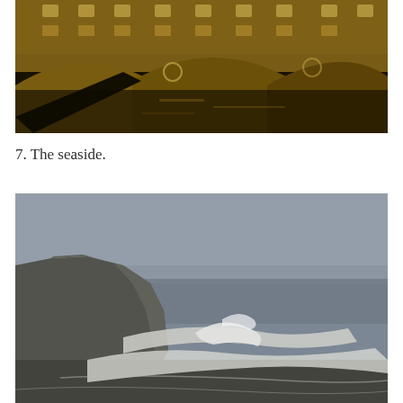[Figure (photo): Night photograph of a historic stone bridge with arched spans over a river, illuminated in warm golden light. A classical building sits atop the bridge. Dark water reflects the arches below.]
7. The seaside.
[Figure (photo): Stormy seaside scene with large crashing waves on a beach, dramatic white chalk cliffs in the left background, and a grey misty sky. The scene is moody and atmospheric.]